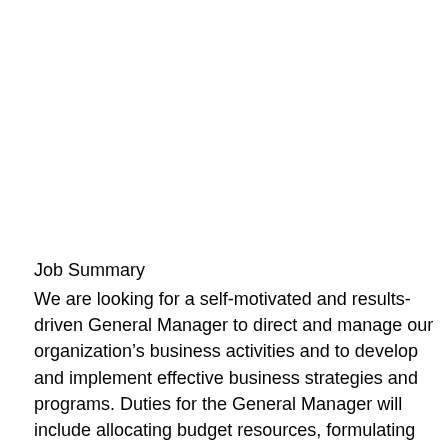Job Summary
We are looking for a self-motivated and results-driven General Manager to direct and manage our organization’s business activities and to develop and implement effective business strategies and programs. Duties for the General Manager will include allocating budget resources, formulating policies, coordinating business operations, monitoring and motivating staff, managing operational costs, ensuring good customer